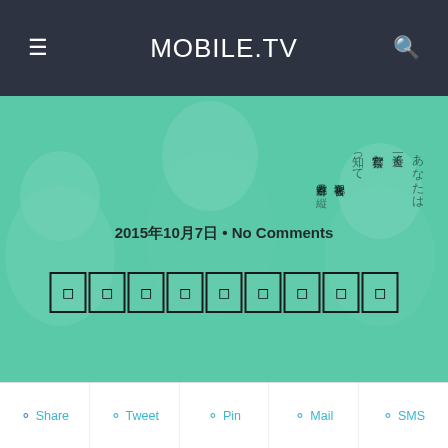MOBILE.TV
[Figure (photo): Hero banner with teal/green overlay showing three people in suits, with Japanese text overlay on right side]
2015年10月7日 • No Comments
□□□□□□□□□□
f Share   Tweet   Pin   Mail   SMS
[Figure (photo): Bottom photo showing people with pink cherry blossom background]